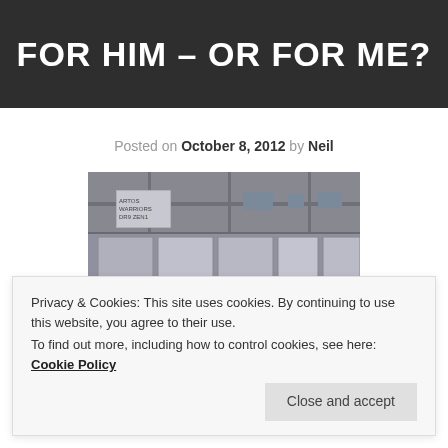FOR HIM – OR FOR ME?
Posted on October 8, 2012 by Neil
[Figure (photo): Interior of an ice hockey rink with players on the ice, arena boards and banners visible in background]
Privacy & Cookies: This site uses cookies. By continuing to use this website, you agree to their use.
To find out more, including how to control cookies, see here: Cookie Policy
Close and accept